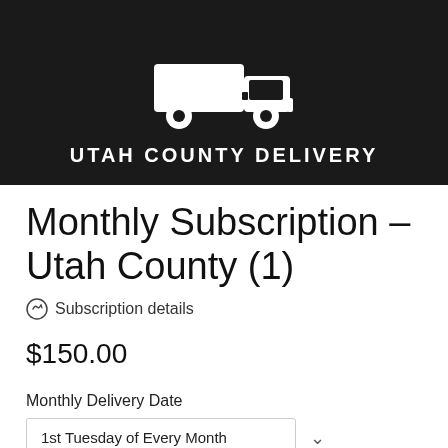[Figure (logo): Utah County Delivery logo — black background with white truck icon silhouette and bold white all-caps text reading UTAH COUNTY DELIVERY]
Monthly Subscription – Utah County (1)
Subscription details
$150.00
Monthly Delivery Date
1st Tuesday of Every Month